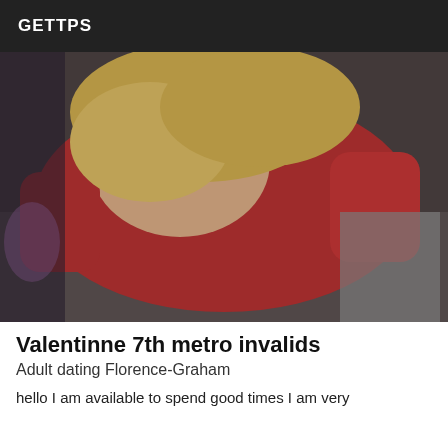GETTPS
[Figure (photo): A person wearing a red velvet top and fishnet stockings in a low-angle selfie photo.]
Valentinne 7th metro invalids
Adult dating Florence-Graham
hello I am available to spend good times I am very